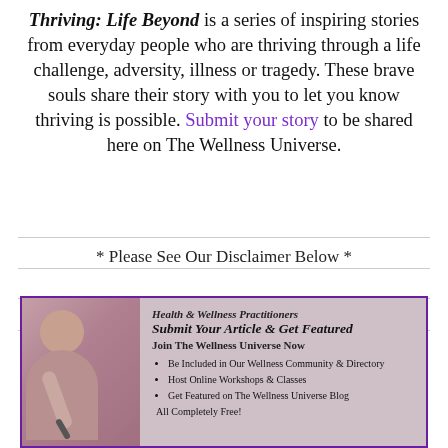Thriving: Life Beyond is a series of inspiring stories from everyday people who are thriving through a life challenge, adversity, illness or tragedy. These brave souls share their story with you to let you know thriving is possible. Submit your story to be shared here on The Wellness Universe.
* Please See Our Disclaimer Below *
[Figure (infographic): Promotional banner for The Wellness Universe: 'Health & Wellness Practitioners — Submit Your Article & Get Featured — Join The Wellness Universe Now' with bullet points: Be Included in Our Wellness Community & Directory, Host Online Workshops & Classes, Get Featured on The Wellness Universe Blog, All Completely Free! Photo of a woman writing on the left.]